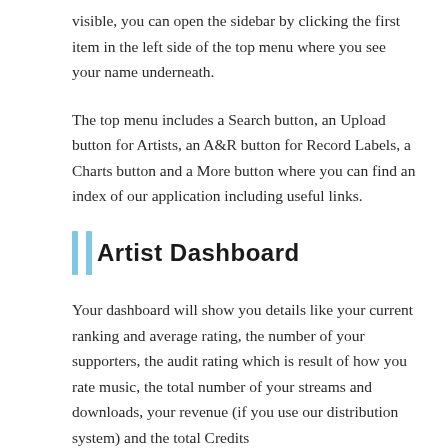visible, you can open the sidebar by clicking the first item in the left side of the top menu where you see your name underneath.
The top menu includes a Search button, an Upload button for Artists, an A&R button for Record Labels, a Charts button and a More button where you can find an index of our application including useful links.
Artist Dashboard
Your dashboard will show you details like your current ranking and average rating, the number of your supporters, the audit rating which is result of how you rate music, the total number of your streams and downloads, your revenue (if you use our distribution system) and the total Credits